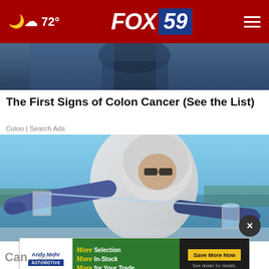72° FOX 59
[Figure (photo): Top cropped portion of article image showing blue/dark background]
The First Signs of Colon Cancer (See the List)
Colon | Search Ads
[Figure (photo): Scientist/researcher in white protective suit and hair net, wearing blue gloves, pouring liquid from a glass beaker outdoors near a body of water]
[Figure (photo): Andy Mohr Automotive advertisement banner: More Selection, More In-Stock, More for Your Trade — Save More Now, See dealer for details]
Can...ign